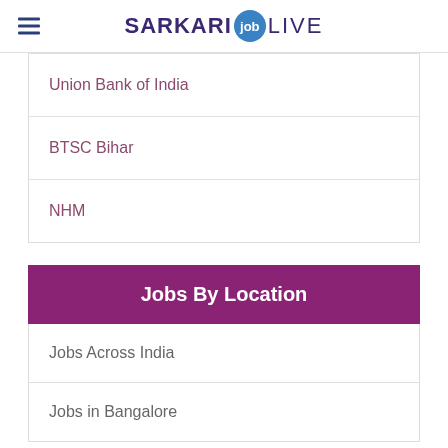SARKARI job LIVE
Union Bank of India
BTSC Bihar
NHM
Jobs By Location
Jobs Across India
Jobs in Bangalore